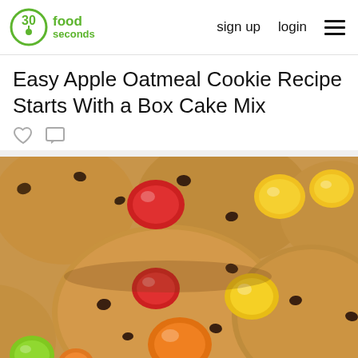30seconds food | sign up | login
Easy Apple Oatmeal Cookie Recipe Starts With a Box Cake Mix
[Figure (photo): Close-up photo of round oatmeal cookies topped with colorful M&M candies in red, orange, yellow and green, with chocolate chips, arranged in a pile on a surface.]